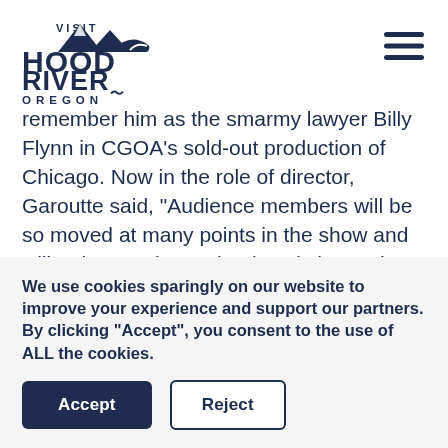[Figure (logo): Visit Hood River Oregon logo — stylized mountain peaks above the text VISIT / HOOD / RIVER / OREGON in dark navy blue]
remember him as the smarmy lawyer Billy Flynn in CGOA’s sold-out production of Chicago. Now in the role of director, Garoutte said, “Audience members will be so moved at many points in the show and will truly experience that love is love. The whole cast has pulled together to create something that will send everyone home buzzing with hope and great conversation.”
We use cookies sparingly on our website to improve your experience and support our partners. By clicking “Accept”, you consent to the use of ALL the cookies.